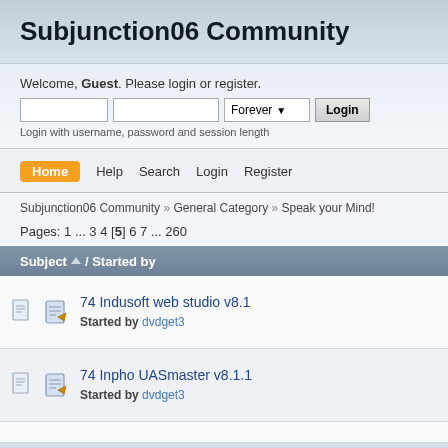Subjunction06 Community
Welcome, Guest. Please login or register.
Login with username, password and session length
Home  Help  Search  Login  Register
Subjunction06 Community » General Category » Speak your Mind!
Pages: 1 ... 3 4 [5] 6 7 ... 260
| Subject / Started by |
| --- |
| 74 Indusoft web studio v8.1
Started by dvdget3 |
| 74 Inpho UASmaster v8.1.1
Started by dvdget3 |